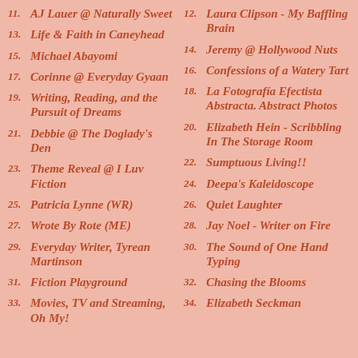11. AJ Lauer @ Naturally Sweet
12. Laura Clipson - My Baffling Brain
13. Life & Faith in Caneyhead
14. Jeremy @ Hollywood Nuts
15. Michael Abayomi
16. Confessions of a Watery Tart
17. Corinne @ Everyday Gyaan
18. La Fotografía Efectista Abstracta. Abstract Photos
19. Writing, Reading, and the Pursuit of Dreams
20. Elizabeth Hein - Scribbling In The Storage Room
21. Debbie @ The Doglady's Den
22. Sumptuous Living!!
23. Theme Reveal @ I Luv Fiction
24. Deepa's Kaleidoscope
25. Patricia Lynne (WR)
26. Quiet Laughter
27. Wrote By Rote (ME)
28. Jay Noel - Writer on Fire
29. Everyday Writer, Tyrean Martinson
30. The Sound of One Hand Typing
31. Fiction Playground
32. Chasing the Blooms
33. Movies, TV and Streaming, Oh My!
34. Elizabeth Seckman